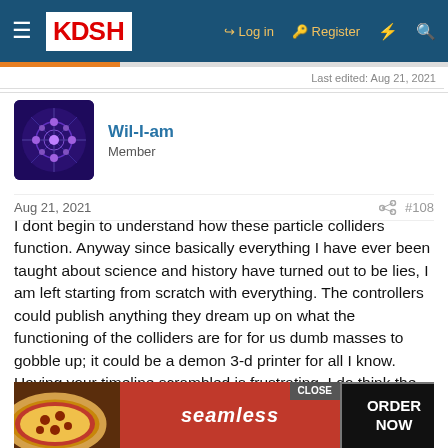KDSH — Log in | Register
Last edited: Aug 21, 2021
Wil-I-am
Member
Aug 21, 2021  #108
I dont begin to understand how these particle colliders function. Anyway since basically everything I have ever been taught about science and history have turned out to be lies, I am left starting from scratch with everything. The controllers could publish anything they dream up on what the functioning of the colliders are for for us dumb masses to gobble up; it could be a demon 3-d printer for all I know. Having your timeline scrambled is frustrating. I do think the controllers are operating a breakaway civilization that is 20-50 years ahead. The AI singulari... the controlle... abs
[Figure (screenshot): Seamless food delivery advertisement overlay with pizza image, Seamless brand name, and ORDER NOW call to action button. CLOSE button in top right.]